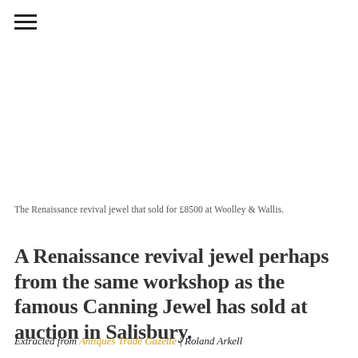≡
The Renaissance revival jewel that sold for £8500 at Woolley & Wallis.
A Renaissance revival jewel perhaps from the same workshop as the famous Canning Jewel has sold at auction in Salisbury.
Extracted from Antiques Trade Gazette | Roland Arkell